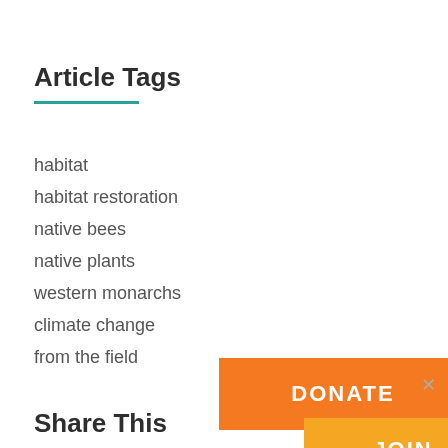Article Tags
habitat
habitat restoration
native bees
native plants
western monarchs
climate change
from the field
Share This
DONATE
JOIN